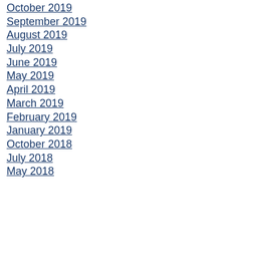October 2019
September 2019
August 2019
July 2019
June 2019
May 2019
April 2019
March 2019
February 2019
January 2019
October 2018
July 2018
May 2018